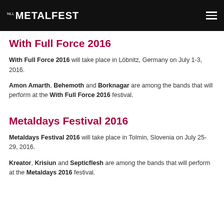NLL METALFEST
With Full Force 2016
With Full Force 2016 will take place in Löbnitz, Germany on July 1-3, 2016.
Amon Amarth, Behemoth and Borknagar are among the bands that will perform at the With Full Force 2016 festival.
Metaldays Festival 2016
Metaldays Festival 2016 will take place in Tolmin, Slovenia on July 25-29, 2016.
Kreator, Krisiun and Septicflesh are among the bands that will perform at the Metaldays 2016 festival.